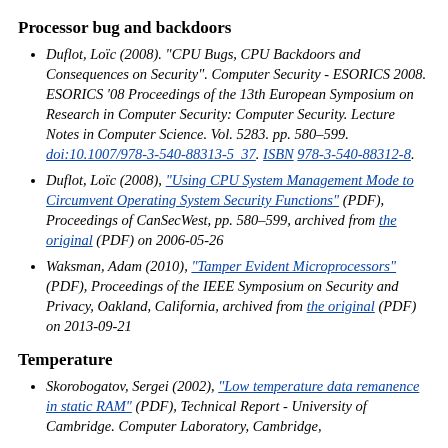Processor bug and backdoors
Duflot, Loïc (2008). "CPU Bugs, CPU Backdoors and Consequences on Security". Computer Security - ESORICS 2008. ESORICS '08 Proceedings of the 13th European Symposium on Research in Computer Security: Computer Security. Lecture Notes in Computer Science. Vol. 5283. pp. 580–599. doi:10.1007/978-3-540-88313-5_37. ISBN 978-3-540-88312-8.
Duflot, Loïc (2008), "Using CPU System Management Mode to Circumvent Operating System Security Functions" (PDF), Proceedings of CanSecWest, pp. 580–599, archived from the original (PDF) on 2006-05-26
Waksman, Adam (2010), "Tamper Evident Microprocessors" (PDF), Proceedings of the IEEE Symposium on Security and Privacy, Oakland, California, archived from the original (PDF) on 2013-09-21
Temperature
Skorobogatov, Sergei (2002), "Low temperature data remanence in static RAM" (PDF), Technical Report - University of Cambridge. Computer Laboratory, Cambridge,